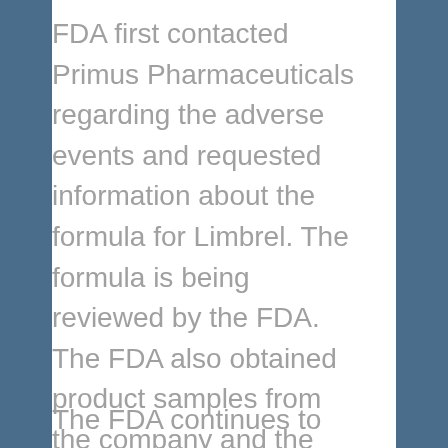FDA first contacted Primus Pharmaceuticals regarding the adverse events and requested information about the formula for Limbrel. The formula is being reviewed by the FDA. The FDA also obtained product samples from the company and the samples are undergoing testing.
The FDA continues to